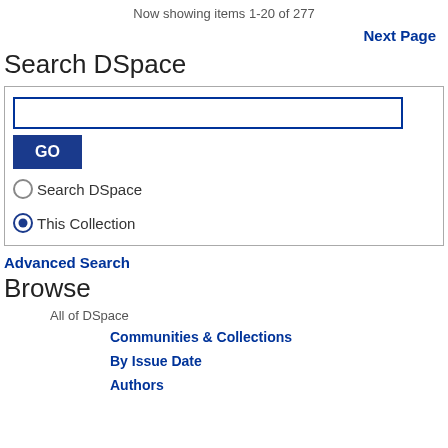Now showing items 1-20 of 277
Next Page
Search DSpace
[Figure (screenshot): Search DSpace input box with GO button, Search DSpace radio button (unselected), This Collection radio button (selected)]
Advanced Search
Browse
All of DSpace
Communities & Collections
By Issue Date
Authors